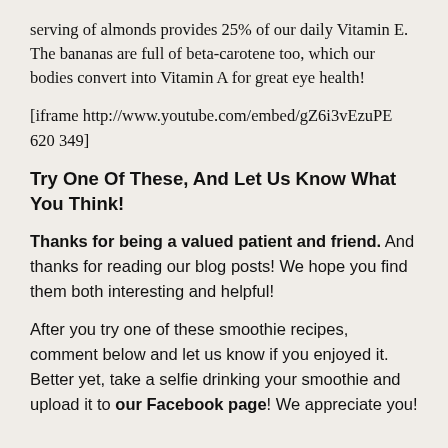serving of almonds provides 25% of our daily Vitamin E. The bananas are full of beta-carotene too, which our bodies convert into Vitamin A for great eye health!
[iframe http://www.youtube.com/embed/gZ6i3vEzuPE 620 349]
Try One Of These, And Let Us Know What You Think!
Thanks for being a valued patient and friend. And thanks for reading our blog posts! We hope you find them both interesting and helpful!
After you try one of these smoothie recipes, comment below and let us know if you enjoyed it. Better yet, take a selfie drinking your smoothie and upload it to our Facebook page! We appreciate you!